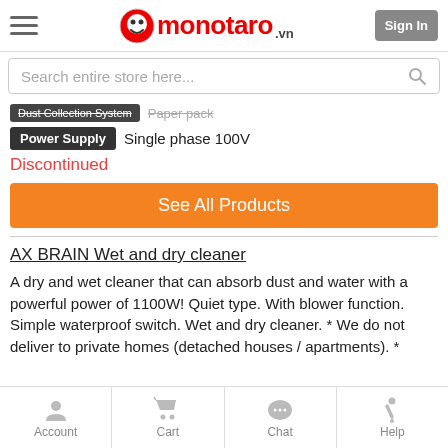[Figure (logo): Monotaro.vn logo with hamburger menu and Sign In button]
Search entire store here...
Dust Collection System   Paper pack
Power Supply   Single phase 100V
Discontinued
See All Products
AX BRAIN Wet and dry cleaner
A dry and wet cleaner that can absorb dust and water with a powerful power of 1100W! Quiet type. With blower function. Simple waterproof switch. Wet and dry cleaner. * We do not deliver to private homes (detached houses / apartments). *
Account   Cart   Chat   Help